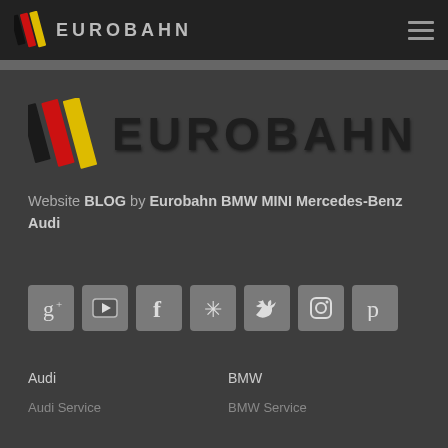EUROBAHN (navigation bar with logo and hamburger menu)
[Figure (logo): Eurobahn logo with black/red/yellow diagonal stripes and EUROBAHN text in large letters]
Website BLOG by Eurobahn BMW MINI Mercedes-Benz Audi
[Figure (infographic): Row of 7 social media icon buttons: Google+, YouTube, Facebook, Yelp, Twitter, Instagram, Pinterest]
Audi
BMW
Audi Service
BMW Service